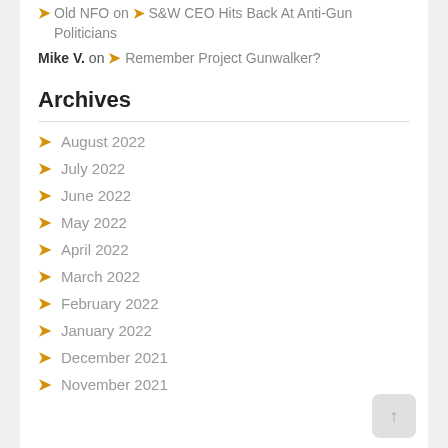Old NFO on ❯ S&W CEO Hits Back At Anti-Gun Politicians
Mike V. on ❯ Remember Project Gunwalker?
Archives
August 2022
July 2022
June 2022
May 2022
April 2022
March 2022
February 2022
January 2022
December 2021
November 2021